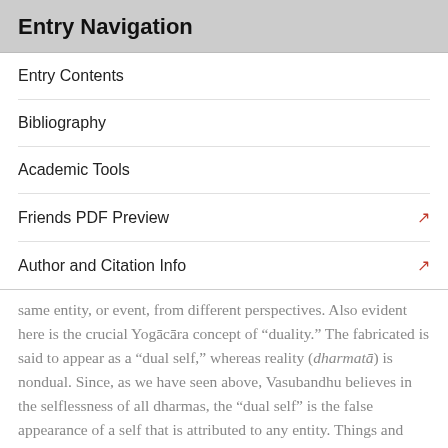Entry Navigation
Entry Contents
Bibliography
Academic Tools
Friends PDF Preview
Author and Citation Info
same entity, or event, from different perspectives. Also evident here is the crucial Yogācāra concept of “duality.” The fabricated is said to appear as a “dual self,” whereas reality (dharmatā) is nondual. Since, as we have seen above, Vasubandhu believes in the selflessness of all dharmas, the “dual self” is the false appearance of a self that is attributed to any entity. Things and selves mistakenly appear “dual.” What does this mean?
The twosome denied by the denial of “duality” has many interpretations across Yogācāra thought, but for Vasubandhu the most important kinds of duality are